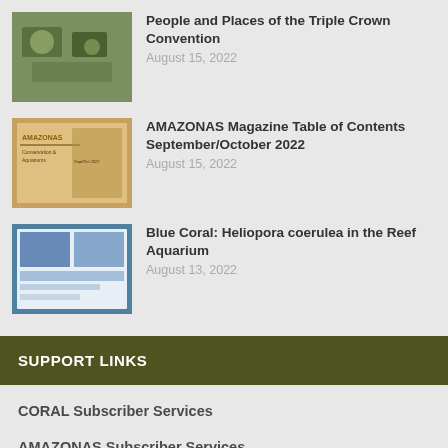People and Places of the Triple Crown Convention — August 15, 2022
AMAZONAS Magazine Table of Contents September/October 2022 — August 15, 2022
Blue Coral: Heliopora coerulea in the Reef Aquarium — August 13, 2022
SUPPORT LINKS
CORAL Subscriber Services
AMAZONAS Subscriber Services
ABOUT Reef To Rainforest
PRIVACY POLICY
CONTACT
© 2021 Powered By Reef To Rainforest Media, LLC | CORAL Magazine | AMAZONAS Magazine | Mi…